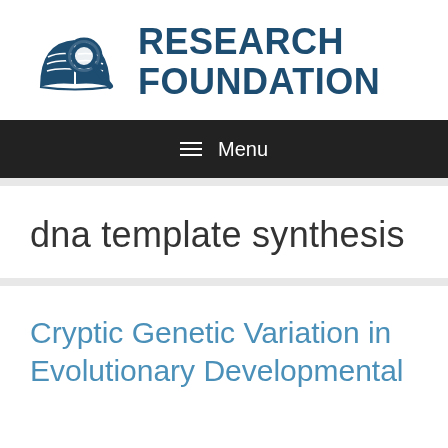[Figure (logo): Research Foundation logo with book and magnifying glass icon alongside bold dark blue text reading RESEARCH FOUNDATION]
≡ Menu
dna template synthesis
Cryptic Genetic Variation in Evolutionary Developmental